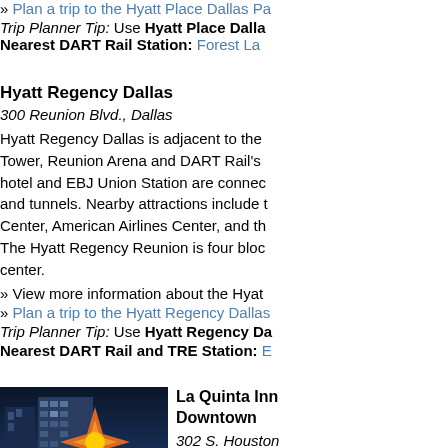» View more information about the Hyatt...
» Plan a trip to the Hyatt Place Dallas Pa...
Trip Planner Tip: Use Hyatt Place Dalla...
Nearest DART Rail Station: Forest La...
Hyatt Regency Dallas
300 Reunion Blvd., Dallas
Hyatt Regency Dallas is adjacent to the Tower, Reunion Arena and DART Rail's hotel and EBJ Union Station are connected and tunnels. Nearby attractions include Center, American Airlines Center, and th... The Hyatt Regency Reunion is four bloc... center.
» View more information about the Hyatt...
» Plan a trip to the Hyatt Regency Dallas...
Trip Planner Tip: Use Hyatt Regency Da...
Nearest DART Rail and TRE Station: E...
[Figure (photo): Exterior photo of La Quinta Inn Downtown hotel building at dusk/night, showing a modern multi-story hotel with orange/yellow starburst graphic on the facade]
La Quinta Inn Downtown
302 S. Houston...